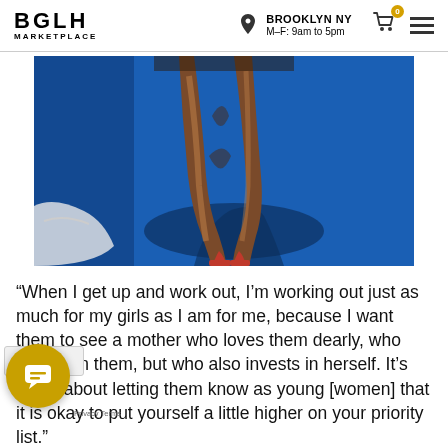BGLH MARKETPLACE | BROOKLYN NY M–F: 9am to 5pm
[Figure (photo): Close-up photo of a woman's legs from the knees down, wearing red high heels, walking on a bright blue carpet or surface. Shadow visible behind her legs.]
“When I get up and work out, I’m working out just as much for my girls as I am for me, because I want them to see a mother who loves them dearly, who invests in them, but who also invests in herself. It’s much about letting them know as young [women] that it is okay to put yourself a little higher on your priority list.”